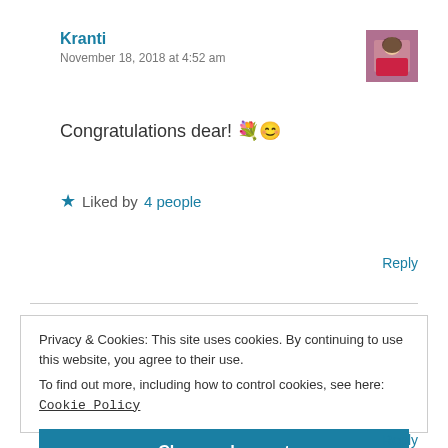Kranti
November 18, 2018 at 4:52 am
[Figure (photo): Small avatar photo of a person in a pink/red outfit]
Congratulations dear! 💐😊
★ Liked by 4 people
Reply
Privacy & Cookies: This site uses cookies. By continuing to use this website, you agree to their use.
To find out more, including how to control cookies, see here: Cookie Policy
Close and accept
Reply